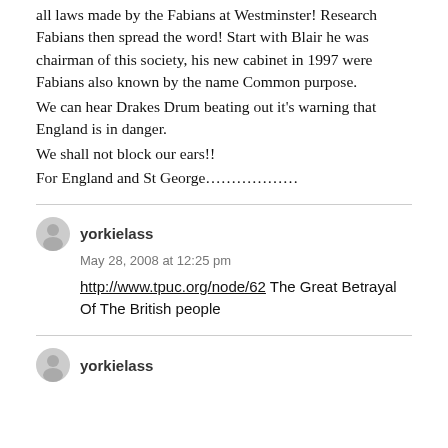all laws made by the Fabians at Westminster! Research Fabians then spread the word! Start with Blair he was chairman of this society, his new cabinet in 1997 were Fabians also known by the name Common purpose.
We can hear Drakes Drum beating out it's warning that England is in danger.
We shall not block our ears!!
For England and St George……………..
yorkielass — May 28, 2008 at 12:25 pm
http://www.tpuc.org/node/62 The Great Betrayal Of The British people
yorkielass